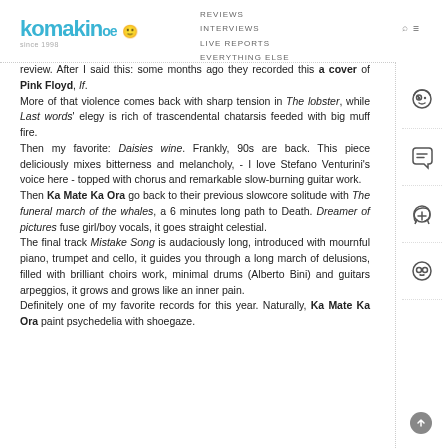komakinoe — REVIEWS INTERVIEWS LIVE REPORTS EVERYTHING ELSE
review. After I said this: some months ago they recorded this a cover of Pink Floyd, If.
More of that violence comes back with sharp tension in The lobster, while Last words' elegy is rich of trascendental chatarsis feeded with big muff fire.
Then my favorite: Daisies wine. Frankly, 90s are back. This piece deliciously mixes bitterness and melancholy, - I love Stefano Venturini's voice here - topped with chorus and remarkable slow-burning guitar work.
Then Ka Mate Ka Ora go back to their previous slowcore solitude with The funeral march of the whales, a 6 minutes long path to Death. Dreamer of pictures fuse girl/boy vocals, it goes straight celestial.
The final track Mistake Song is audaciously long, introduced with mournful piano, trumpet and cello, it guides you through a long march of delusions, filled with brilliant choirs work, minimal drums (Alberto Bini) and guitars arpeggios, it grows and grows like an inner pain.
Definitely one of my favorite records for this year. Naturally, Ka Mate Ka Ora paint psychedelia with shoegaze.